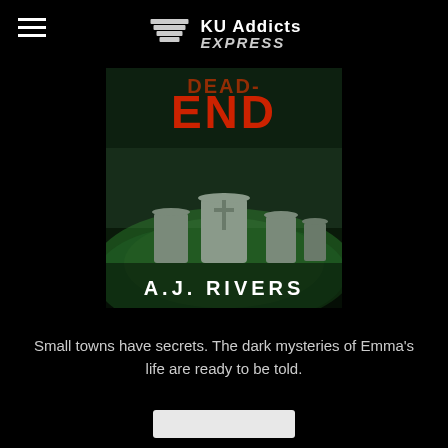KU Addicts EXPRESS
[Figure (illustration): Book cover for a thriller/mystery novel showing cemetery headstones against a dark green foggy forest background. Title text 'DEAD-END' or similar appears in red at top. Bottom text reads 'A.J. RIVERS' in white letters.]
Small towns have secrets. The dark mysteries of Emma's life are ready to be told.